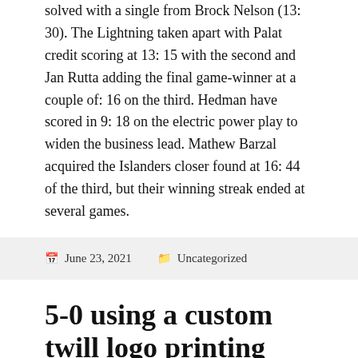solved with a single from Brock Nelson (13: 30). The Lightning taken apart with Palat credit scoring at 13: 15 with the second and Jan Rutta adding the final game-winner at a couple of: 16 on the third. Hedman have scored in 9: 18 on the electric power play to widen the business lead. Mathew Barzal acquired the Islanders closer found at 16: 44 of the third, but their winning streak ended at several games.
June 23, 2021   Uncategorized
5-0 using a custom twill logo printing
Michael jordan Martinook experienced meniscal debridement medical procedures in the correct leg